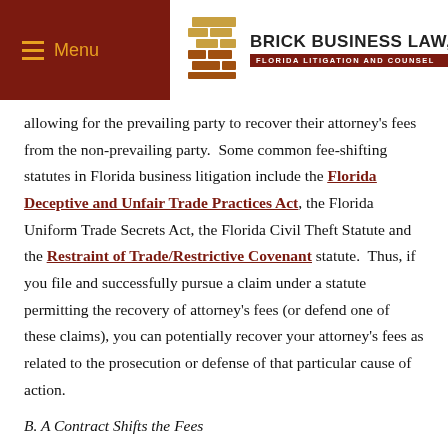Menu | BRICK BUSINESS LAW, P.A. FLORIDA LITIGATION AND COUNSEL
allowing for the prevailing party to recover their attorney’s fees from the non-prevailing party. Some common fee-shifting statutes in Florida business litigation include the Florida Deceptive and Unfair Trade Practices Act, the Florida Uniform Trade Secrets Act, the Florida Civil Theft Statute and the Restraint of Trade/Restrictive Covenant statute. Thus, if you file and successfully pursue a claim under a statute permitting the recovery of attorney’s fees (or defend one of these claims), you can potentially recover your attorney’s fees as related to the prosecution or defense of that particular cause of action.
B. A Contract Shifts the Fees